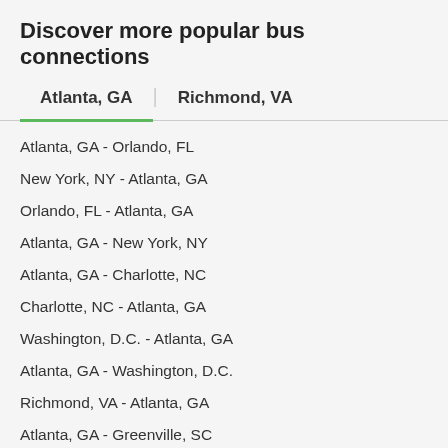Discover more popular bus connections
Atlanta, GA | Richmond, VA
Atlanta, GA - Orlando, FL
New York, NY - Atlanta, GA
Orlando, FL - Atlanta, GA
Atlanta, GA - New York, NY
Atlanta, GA - Charlotte, NC
Charlotte, NC - Atlanta, GA
Washington, D.C. - Atlanta, GA
Atlanta, GA - Washington, D.C.
Richmond, VA - Atlanta, GA
Atlanta, GA - Greenville, SC
Gainesville, FL - Atlanta, GA